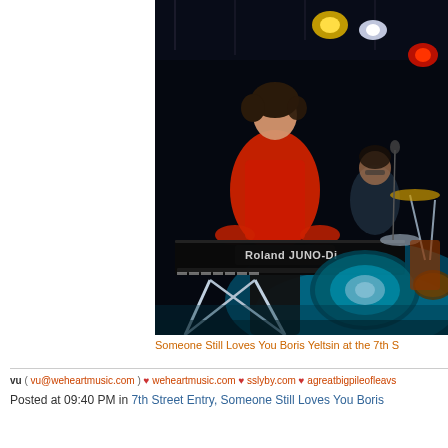[Figure (photo): Concert photo showing musicians on stage. A person in a red top plays a Roland JUNO-Di keyboard, with another musician visible in the background near a drum kit. The stage is lit with teal/cyan and orange/red lights against a dark background.]
Someone Still Loves You Boris Yeltsin at the 7th S
vu ( vu@weheartmusic.com ) ♥ weheartmusic.com ♥ sslyby.com ♥ agreatbigpileofleavs
Posted at 09:40 PM in 7th Street Entry, Someone Still Loves You Boris
Reblog (0)